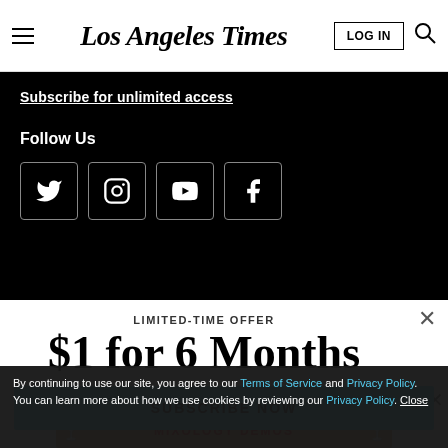Los Angeles Times
Subscribe for unlimited access
Follow Us
[Figure (other): Social media icons: Twitter, Instagram, YouTube, Facebook in white square boxes on black background]
LIMITED-TIME OFFER
$1 for 6 Months
SUBSCRIBE NOW
By continuing to use our site, you agree to our Terms of Service and Privacy Policy. You can learn more about how we use cookies by reviewing our Privacy Policy. Close
[Figure (other): Ad banner: MIXOLOGY DEMOS with martini glass graphics]